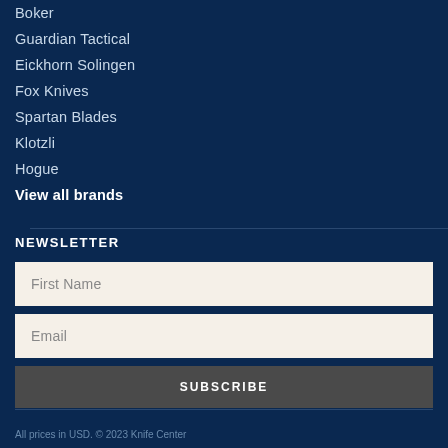Boker
Guardian Tactical
Eickhorn Solingen
Fox Knives
Spartan Blades
Klotzli
Hogue
View all brands
NEWSLETTER
First Name
Email
SUBSCRIBE
All prices in USD. © 2023 Knife Center